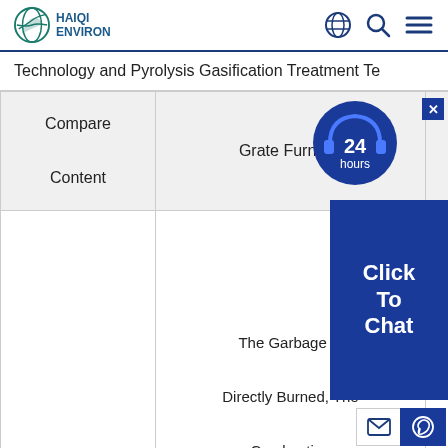HAIQI ENVIRON — navigation header with globe, search, and menu icons
Technology and Pyrolysis Gasification Treatment Te…
| Compare Content | Grate Furnace | Pyrolysis… |  |
| --- | --- | --- | --- |
| Incineration | The Garbage Is Directly Burned, The Combustion | Using Two Treatment, The Garbage Is Now Pyrolyzed And Gasified, And Then Small-Molecule Combustible Gas Is… |  |